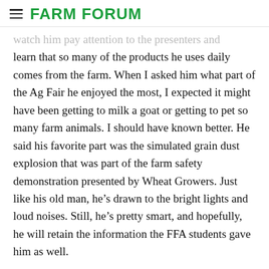FARM FORUM
watch him pay attention to the presenters and learn that so many of the products he uses daily comes from the farm. When I asked him what part of the Ag Fair he enjoyed the most, I expected it might have been getting to milk a goat or getting to pet so many farm animals. I should have known better. He said his favorite part was the simulated grain dust explosion that was part of the farm safety demonstration presented by Wheat Growers. Just like his old man, he’s drawn to the bright lights and loud noises. Still, he’s pretty smart, and hopefully, he will retain the information the FFA students gave him as well.
[Figure (other): Social sharing icons: SMS/txt (green rounded square), Facebook (blue square), Twitter (blue bird), Email (grey envelope)]